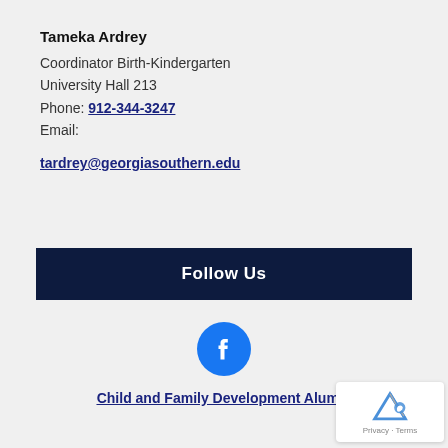Tameka Ardrey
Coordinator Birth-Kindergarten
University Hall 213
Phone: 912-344-3247
Email:
tardrey@georgiasouthern.edu
Follow Us
[Figure (logo): Facebook logo icon - blue circle with white 'f']
Child and Family Development Alumni